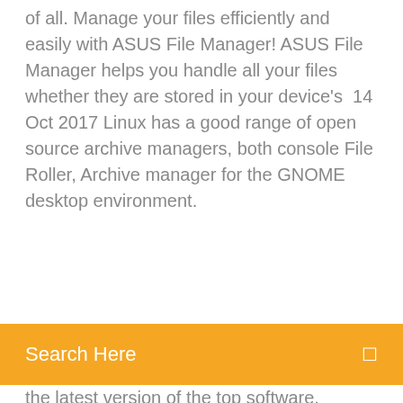of all. Manage your files efficiently and easily with ASUS File Manager! ASUS File Manager helps you handle all your files whether they are stored in your device's  14 Oct 2017 Linux has a good range of open source archive managers, both console File Roller, Archive manager for the GNOME desktop environment.
Search Here
the latest version of the top software, games, programs and apps in 2020. Best Downloading Manager to download files with Maximum high speed. IDM or Internet Download Manager 6.36 build 1 (Released: December 25, 2019).Gnome Archive Manager - Wikipediahttps://en.wikipedia.org/wiki/gnome-archive-managerArchive Manager (previously File Roller) is the archive manager of the Gnome desktop environment. Archive Manager | manualzz.com Downloads and install packages for Archive Manager Archive Manager is a one of a kind file archiving solution for network shares. You get all the features you'd